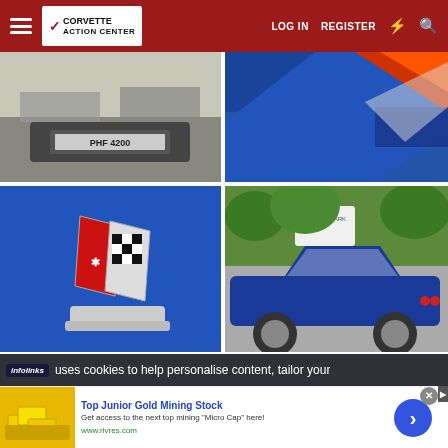Corvette Action Center — LOG IN  REGISTER
[Figure (photo): Close-up of the rear underside of a classic Corvette showing license plate PHF 4200]
[Figure (photo): Close-up of a blue Corvette body panel with orange accent and chrome detail]
[Figure (photo): Close-up of a Corvette crossed-flags emblem badge on blue background]
[Figure (photo): Side view of a classic blue Corvette convertible parked at a car show]
uses cookies to help personalise content, tailor your
[Figure (advertisement): Ad: Top Junior Gold Mining Stock — Get access to the next top mining Micro Cap here! www.rivres.com]